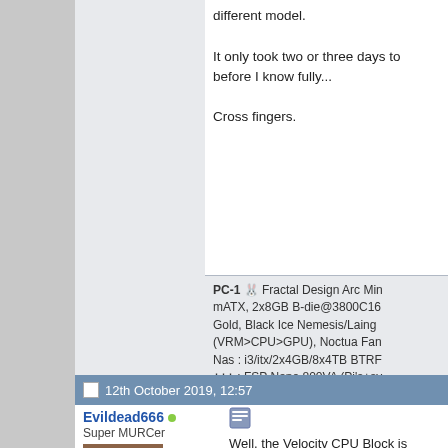different model.

It only took two or three days to before I know fully...

Cross fingers.
PC-1 🐰 Fractal Design Arc Mini mATX, 2x8GB B-die@3800C16 Gold, Black Ice Nemesis/Laing (VRM>CPU>GPU), Noctua Fan Nas : i3/itx/2x4GB/8x4TB BTRF +++ : FSP Nano 800VA (Pi's+sv
12th October 2019, 12:57
Evildead666
Super MURCer
Well, the Velocity CPU Block is Supremacy, luckily having alrea needed a slightly thicker one fro VRM backplates were a right pa